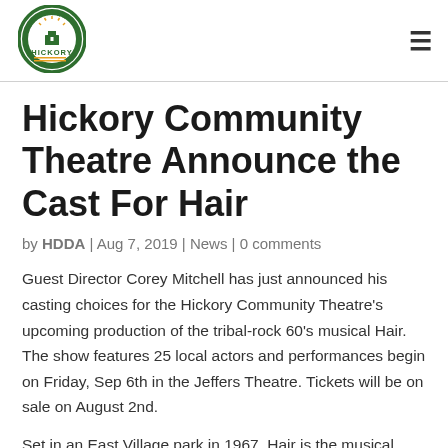Downtown Hickory logo and navigation menu
Hickory Community Theatre Announce the Cast For Hair
by HDDA | Aug 7, 2019 | News | 0 comments
Guest Director Corey Mitchell has just announced his casting choices for the Hickory Community Theatre's upcoming production of the tribal-rock 60's musical Hair. The show features 25 local actors and performances begin on Friday, Sep 6th in the Jeffers Theatre. Tickets will be on sale on August 2nd.
Set in an East Village park in 1967, Hair is the musical story of a group of hippies who celebrate